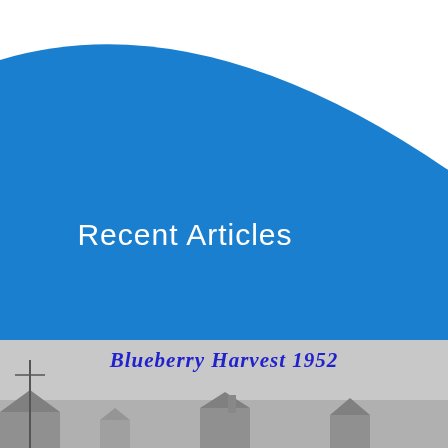[Figure (illustration): Large blue curved shape covering the upper portion of the page, with white text 'Recent Articles' centered in the lower half of the shape]
Recent Articles
[Figure (photo): Black and white historical photograph showing buildings and utility poles, partially visible at the bottom of the page]
Blueberry Harvest 1952